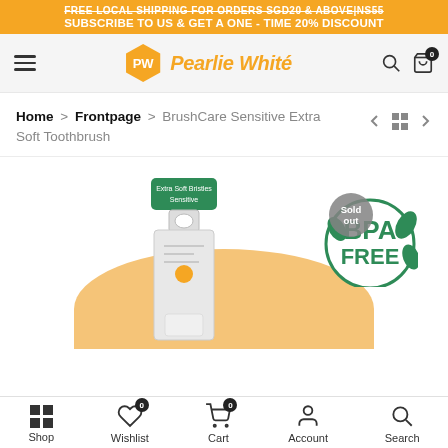FREE LOCAL SHIPPING FOR ORDERS SGD20 & ABOVE|NS55
SUBSCRIBE TO US & GET A ONE - TIME 20% DISCOUNT
[Figure (logo): Pearlie White brand logo with hexagonal PW icon in orange and italic brand name]
Home > Frontpage > BrushCare Sensitive Extra Soft Toothbrush
[Figure (photo): BrushCare Sensitive Extra Soft Toothbrush product in clear blister packaging, on an orange curved background. BPA FREE badge displayed in top right. Sold out overlay badge.]
Shop   Wishlist   Cart   Account   Search